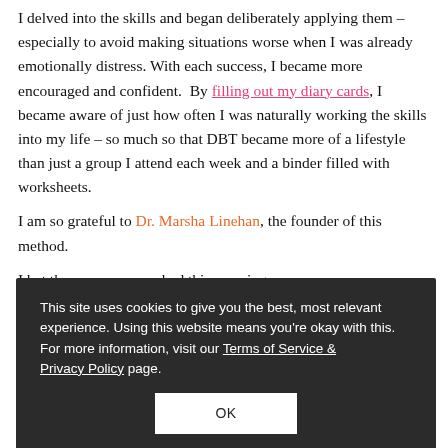I delved into the skills and began deliberately applying them – especially to avoid making situations worse when I was already emotionally distress. With each success, I became more encouraged and confident.  By filling out my diary cards, I became aware of just how often I was naturally working the skills into my life – so much so that DBT became more of a lifestyle than just a group I attend each week and a binder filled with worksheets.
I am so grateful to Dr. Marsha Linehan, the founder of this method.
I bet the sandwich shop owner had this morning would use. The information, visit our Terms of Service & that I visit once a week to. sandwiches on my way to work. She's usually soft n't crack a smile, and sloppily puts together m also seems irritated.
On past visits, I have left feeling slighted, annoyed, and even angry. This time, I decided to apply my skills – at a sandwich
This site uses cookies to give you the best, most relevant experience. Using this website means you're okay with this. For more information, visit our Terms of Service & Privacy Policy page.